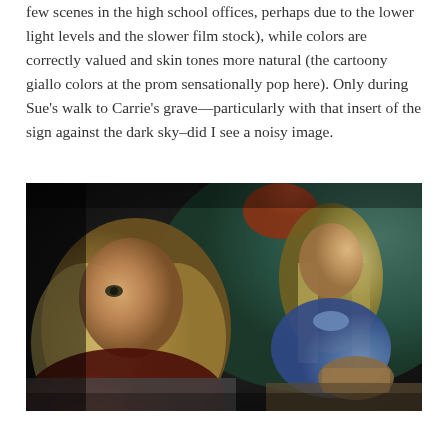few scenes in the high school offices, perhaps due to the lower light levels and the slower film stock), while colors are correctly valued and skin tones more natural (the cartoony giallo colors at the prom sensationally pop here). Only during Sue's walk to Carrie's grave—particularly with that insert of the sign against the dark sky—did I see a noisy image.
[Figure (photo): A film still showing two students in a classroom. In the foreground, a person with curly blonde hair wearing a red top looks toward the camera. In the background, another student with straight blonde hair wearing a light blue top with a bow is seated at a desk with a brown paper bag, looking downward. The background shows a teal/green wall.]